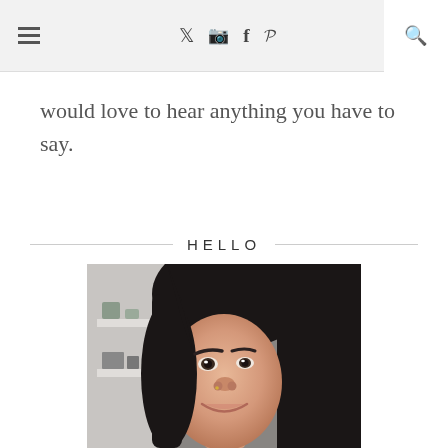≡  𝕏 📷 f 𝗣  🔍
would love to hear anything you have to say.
HELLO
[Figure (photo): Portrait photo of a young Asian woman with long dark hair, smiling, with a shelf visible in the background]